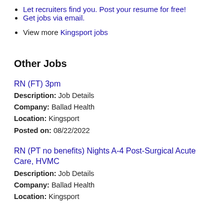Let recruiters find you. Post your resume for free!
Get jobs via email.
View more Kingsport jobs
Other Jobs
RN (FT) 3pm
Description: Job Details
Company: Ballad Health
Location: Kingsport
Posted on: 08/22/2022
RN (PT no benefits) Nights A-4 Post-Surgical Acute Care, HVMC
Description: Job Details
Company: Ballad Health
Location: Kingsport